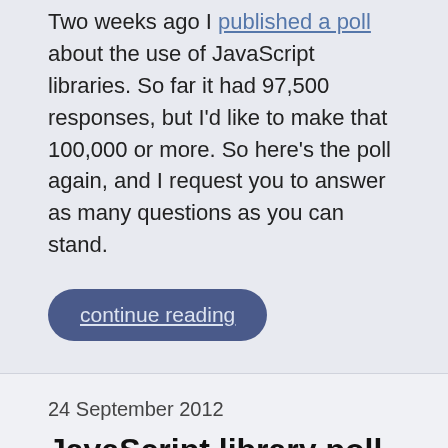Two weeks ago I published a poll about the use of JavaScript libraries. So far it had 97,500 responses, but I'd like to make that 100,000 or more. So here's the poll again, and I request you to answer as many questions as you can stand.
continue reading
24 September 2012
JavaScript library poll
Permalink | in Mobile web dev
5 comments (closed)